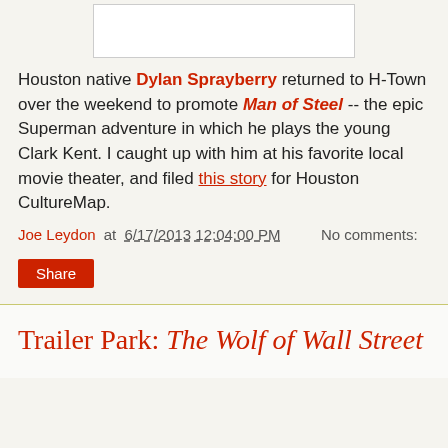[Figure (other): White rectangular image placeholder at top of section]
Houston native Dylan Sprayberry returned to H-Town over the weekend to promote Man of Steel -- the epic Superman adventure in which he plays the young Clark Kent. I caught up with him at his favorite local movie theater, and filed this story for Houston CultureMap.
Joe Leydon at 6/17/2013 12:04:00 PM    No comments:
Share
Trailer Park: The Wolf of Wall Street